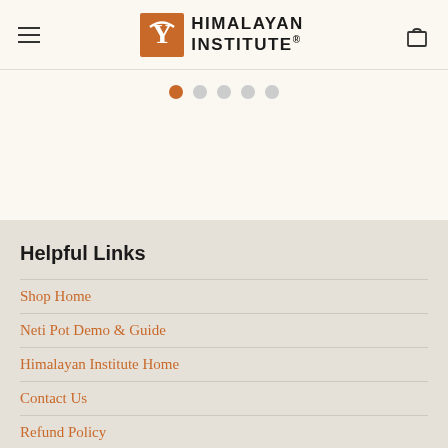[Figure (logo): Himalayan Institute logo with orange Y icon and text]
[Figure (other): Carousel pagination dots, first dot active (orange), four inactive (gray)]
Helpful Links
Shop Home
Neti Pot Demo & Guide
Himalayan Institute Home
Contact Us
Refund Policy
Terms of Service